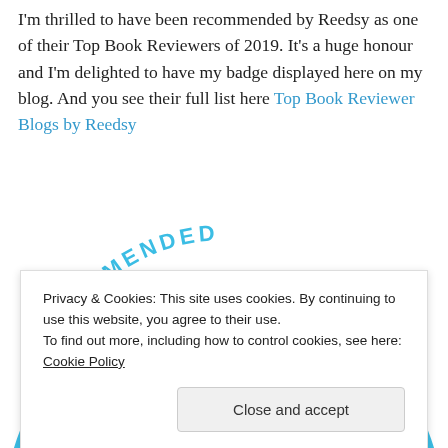I'm thrilled to have been recommended by Reedsy as one of their Top Book Reviewers of 2019. It's a huge honour and I'm delighted to have my badge displayed here on my blog. And you see their full list here Top Book Reviewer Blogs by Reedsy
[Figure (logo): Circular badge in cyan/light blue color reading 'RECOMMENDED TOP BOOK' with decorative elements and '2019' at the bottom, partially visible]
Privacy & Cookies: This site uses cookies. By continuing to use this website, you agree to their use. To find out more, including how to control cookies, see here: Cookie Policy